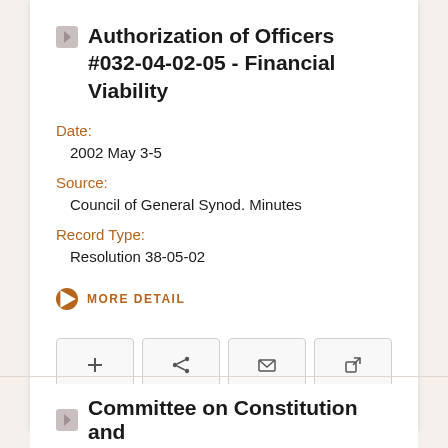Authorization of Officers #032-04-02-05 - Financial Viability
Date:
2002 May 3-5
Source:
Council of General Synod. Minutes
Record Type:
Resolution 38-05-02
MORE DETAIL
Committee on Constitution and